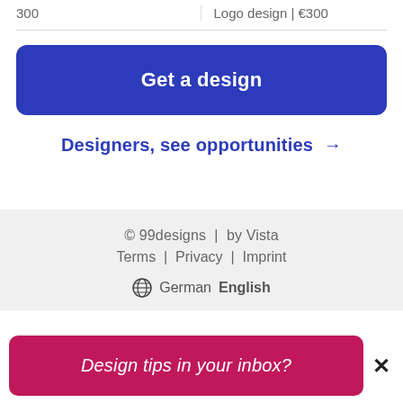300
Logo design | €300
Get a design
Designers, see opportunities →
© 99designs  |  by Vista
Terms  |  Privacy  |  Imprint
🌐 German  English
Design tips in your inbox?